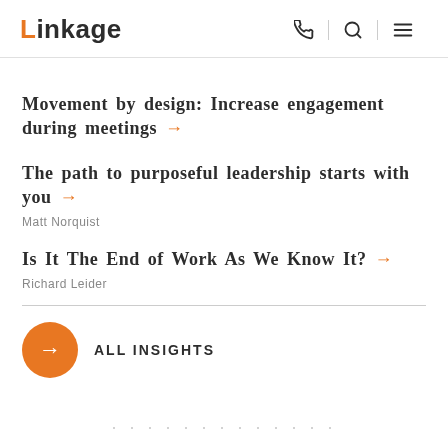Linkage
Movement by design: Increase engagement during meetings →
The path to purposeful leadership starts with you →
Matt Norquist
Is It The End of Work As We Know It? →
Richard Leider
ALL INSIGHTS